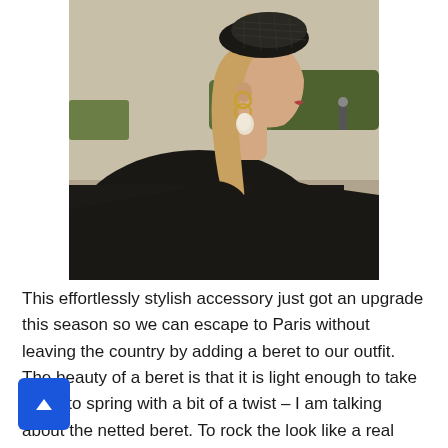[Figure (photo): Side profile of a woman with long blonde hair wearing a black netted beret, gold hoop and pearl earrings, and a black coat. Outdoor setting with a sandy/garden background.]
This effortlessly stylish accessory just got an upgrade this season so we can escape to Paris without leaving the country by adding a beret to our outfit. The beauty of a beret is that it is light enough to take you into spring with a bit of a twist – I am talking about the netted beret. To rock the look like a real